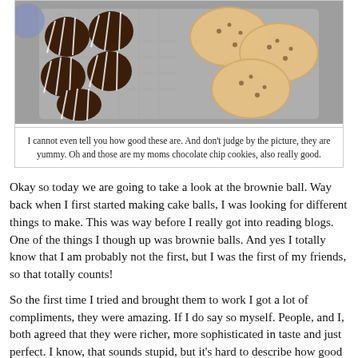[Figure (photo): Photo of chocolate-dipped brownie balls with white stripe drizzle and round chocolate chip cookies, arranged in a clear glass dish on a gray surface]
I cannot even tell you how good these are.  And don't judge by the picture, they are yummy.  Oh and those are my moms chocolate chip cookies, also really good.
Okay so today we are going to take a look at the brownie ball.  Way back when I first started making cake balls, I was looking for different things to make.  This was way before I really got into reading blogs.  One of the things I though up was brownie balls.  And yes I totally know that I am probably not the first, but I was the first of my friends, so that totally counts!
So the first time I tried and brought them to work I got a lot of compliments, they were amazing.  If I do say so myself.  People, and I, both agreed that they were richer, more sophisticated in taste and just perfect.  I know, that sounds stupid, but it's hard to describe how good they are.